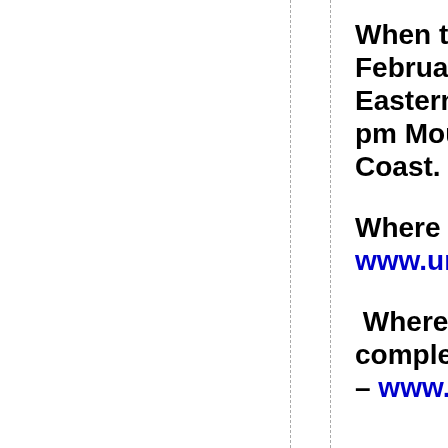When to view — February 07, 2021; 8:00 pm Eastern; 7:00 pm Central; 6:00 pm Mountain; 5:00 pm West Coast.
Where to view – www.unsustainable...
Where you can complete Part II – www.unsustai...